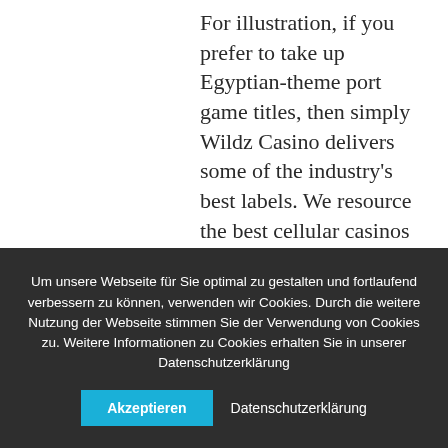For illustration, if you prefer to take up Egyptian-theme port game titles, then simply Wildz Casino delivers some of the industry's best labels. We resource the best cellular casinos to help to make it less difficult for participants to choose 1 that's not just secure but furthermore gives profitable Meet Bonus deals to begin the golf ball going simply correct. From the usual activities to have As well as, the cellular site allows you to complete several functions and transactions, about If
Um unsere Webseite für Sie optimal zu gestalten und fortlaufend verbessern zu können, verwenden wir Cookies. Durch die weitere Nutzung der Webseite stimmen Sie der Verwendung von Cookies zu. Weitere Informationen zu Cookies erhalten Sie in unserer Datenschutzerklärung
Akzeptieren
Datenschutzerklärung